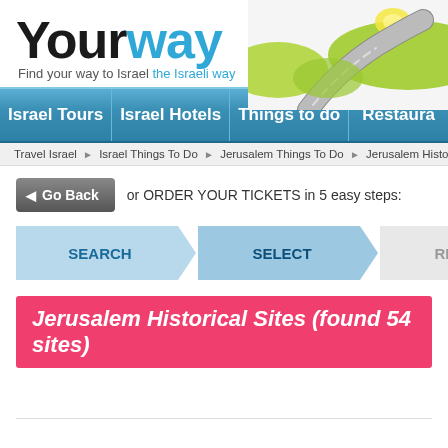[Figure (logo): Yourway travel website logo with road illustration. Large text 'Your' in black bold, 'way' in blue bold. Tagline: 'Find your way to Israel the Israeli way']
Israel Tours | Israel Hotels | Things to do | Restaura
Travel Israel › Israel Things To Do › Jerusalem Things To Do › Jerusalem Historical Sites
◄ Go Back  or ORDER YOUR TICKETS in 5 easy steps:
SEARCH  SELECT  REVIEW  RESERVE
Jerusalem Historical Sites (found 54 sites)